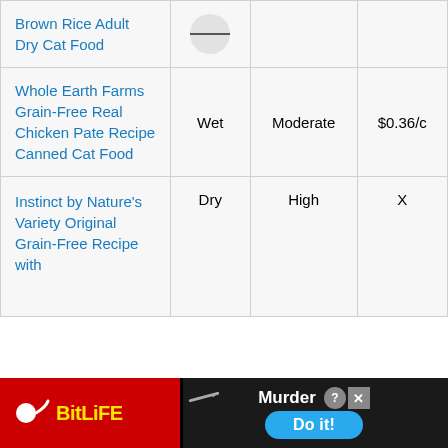| Product | Type | Price Tier | Price |
| --- | --- | --- | --- |
| Brown Rice Adult Dry Cat Food | ≡ |  |  |
| Whole Earth Farms Grain-Free Real Chicken Pate Recipe Canned Cat Food | Wet | Moderate | $0.36/c |
| Instinct by Nature's Variety Original Grain-Free Recipe with... | Dry | High | X |
[Figure (screenshot): BitLife advertisement banner at bottom of screen showing red background with yellow BitLife logo, sperm icon, knife graphic, 'Murder Do it!' text with blue button, and help/close buttons]